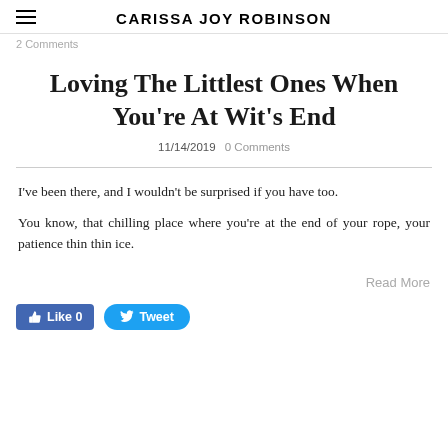CARISSA JOY ROBINSON
2 Comments
Loving The Littlest Ones When You're At Wit's End
11/14/2019   0 Comments
I've been there, and I wouldn't be surprised if you have too.
You know, that chilling place where you're at the end of your rope, your patience thin thin ice.
Read More
Like 0   Tweet